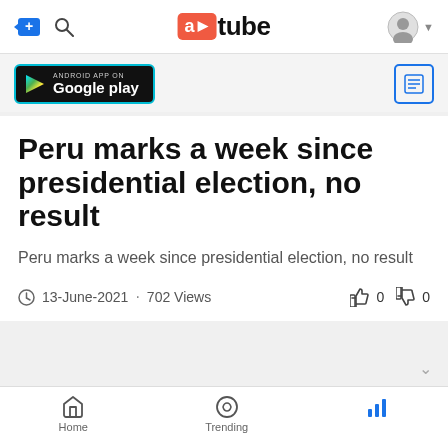atube - navigation bar with add, search, logo, and user icons
[Figure (screenshot): Android App on Google Play badge]
Peru marks a week since presidential election, no result
Peru marks a week since presidential election, no result
13-June-2021 · 702 Views    👍 0  👎 0
Home   Trending   [stats icon]